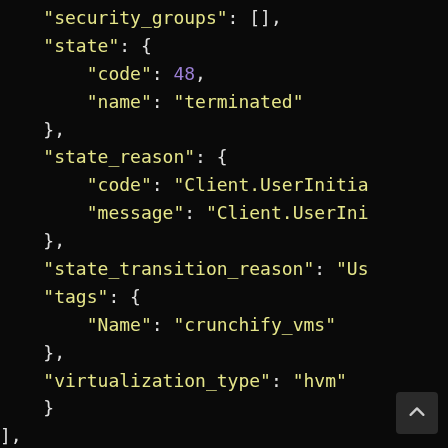"security_groups": [],
"state": {
    "code": 48,
    "name": "terminated"
},
"state_reason": {
    "code": "Client.UserInitia
    "message": "Client.UserIni
},
"state_transition_reason": "Us
"tags": {
    "Name": "crunchify_vms"
},
"virtualization_type": "hvm"
}
],
"invocation": {